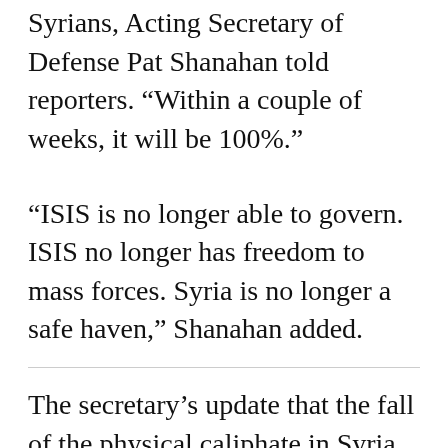Syrians, Acting Secretary of Defense Pat Shanahan told reporters. “Within a couple of weeks, it will be 100%.”
“ISIS is no longer able to govern. ISIS no longer has freedom to mass forces. Syria is no longer a safe haven,” Shanahan added.
The secretary’s update that the fall of the physical caliphate in Syria is imminent comes weeks after President Donald Trump declared victory over the terrorist organization.